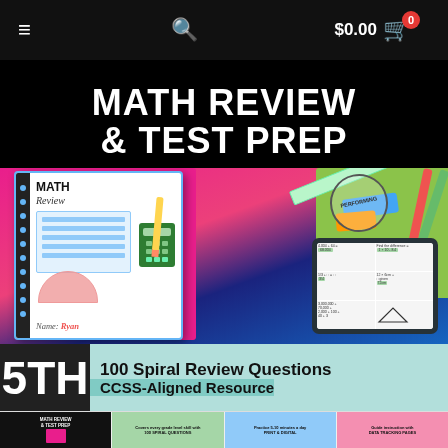$0.00 cart
[Figure (illustration): Math Review & Test Prep 5th grade product cover image showing a math review binder/notebook with calculator, protractor, ruler, and a tablet showing math questions. Bottom bar reads '5TH 100 Spiral Review Questions CCSS-Aligned Resource'. Below are 4 thumbnail preview images of the product.]